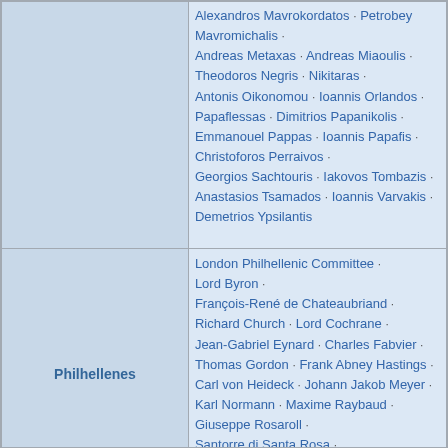| Category | Members |
| --- | --- |
|  | Alexandros Mavrokordatos · Petrobey Mavromichalis · Andreas Metaxas · Andreas Miaoulis · Theodoros Negris · Nikitaras · Antonis Oikonomou · Ioannis Orlandos · Papaflessas · Dimitrios Papanikolis · Emmanouel Pappas · Ioannis Papafis · Christoforos Perraivos · Georgios Sachtouris · Iakovos Tombazis · Anastasios Tsamados · Ioannis Varvakis · Demetrios Ypsilantis |
| Philhellenes | London Philhellenic Committee · Lord Byron · François-René de Chateaubriand · Richard Church · Lord Cochrane · Jean-Gabriel Eynard · Charles Fabvier · Thomas Gordon · Frank Abney Hastings · Carl von Heideck · Johann Jakob Meyer · Karl Normann · Maxime Raybaud · Giuseppe Rosaroll · Santorre di Santa Rosa · Friedrich Thiersch · Ludwig I of Bavaria · German Legion · Serbs |
|  | Alexandros Ypsilantis · Sacred Band |